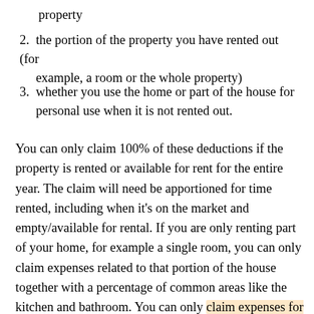property
2. the portion of the property you have rented out (for example, a room or the whole property)
3. whether you use the home or part of the house for personal use when it is not rented out.
You can only claim 100% of these deductions if the property is rented or available for rent for the entire year. The claim will need be apportioned for time rented, including when it's on the market and empty/available for rental. If you are only renting part of your home, for example a single room, you can only claim expenses related to that portion of the house together with a percentage of common areas like the kitchen and bathroom. You can only claim expenses for when the room was available for rent. If